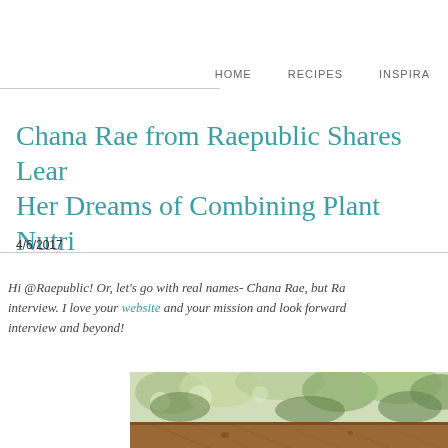HOME   RECIPES   INSPIRA…
Chana Rae from Raepublic Shares Lear… Her Dreams of Combining Plant Nutri…
4/6/2017
Hi @Raepublic! Or, let's go with real names- Chana Rae, but Ra… interview. I love your website and your mission and look forward… interview and beyond!
[Figure (photo): Outdoor photo showing blurred green foliage background with a wooden fence/railing at the bottom, warm brown wood tones.]